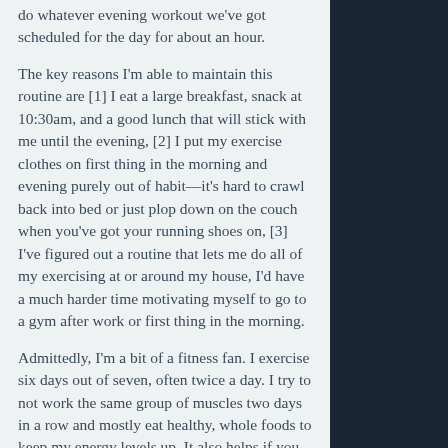do whatever evening workout we've got scheduled for the day for about an hour.
The key reasons I'm able to maintain this routine are [1] I eat a large breakfast, snack at 10:30am, and a good lunch that will stick with me until the evening, [2] I put my exercise clothes on first thing in the morning and evening purely out of habit—it's hard to crawl back into bed or just plop down on the couch when you've got your running shoes on, [3] I've figured out a routine that lets me do all of my exercising at or around my house, I'd have a much harder time motivating myself to go to a gym after work or first thing in the morning.
Admittedly, I'm a bit of a fitness fan. I exercise six days out of seven, often twice a day. I try to not work the same group of muscles two days in a row and mostly eat healthy, whole foods to keep my energy levels up. It also helps if you can find a workout buddy, someone who will hold you accountable to your schedule. Pick a routine that seems realistic for you, whether that's twice a week or five times a week and don't feel too bad if you miss a day or two — just get back on track.